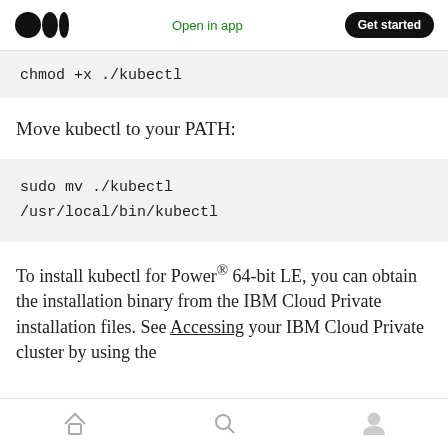Medium logo | Open in app | Get started
chmod +x ./kubectl
Move kubectl to your PATH:
sudo mv ./kubectl /usr/local/bin/kubectl
To install kubectl for Power® 64-bit LE, you can obtain the installation binary from the IBM Cloud Private installation files. See Accessing your IBM Cloud Private cluster by using the
Home | Search | Profile